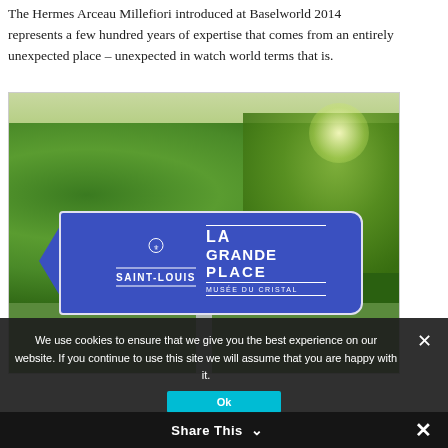The Hermes Arceau Millefiori introduced at Baselworld 2014 represents a few hundred years of expertise that comes from an entirely unexpected place – unexpected in watch world terms that is.
[Figure (photo): A blue directional sign pointing left, reading 'SAINT-LOUIS' with a crest, and 'LA GRANDE PLACE / MUSÉE DU CRISTAL' on the right section, mounted on a post surrounded by green foliage with sunlight.]
We use cookies to ensure that we give you the best experience on our website. If you continue to use this site we will assume that you are happy with it.